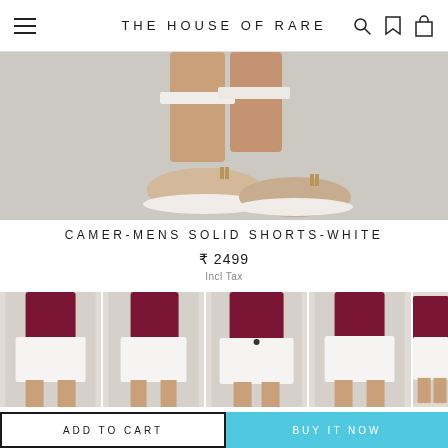THE HOUSE OF RARE
[Figure (photo): Close-up photo of man's lower legs wearing white shorts and beige suede tassel loafers against a gray background]
CAMER-MENS SOLID SHORTS-WHITE
₹ 2499
Incl Tax
[Figure (photo): Thumbnail gallery of 5 product images showing a man in a dark red shirt and white shorts from various angles]
ADD TO CART
BUY IT NOW